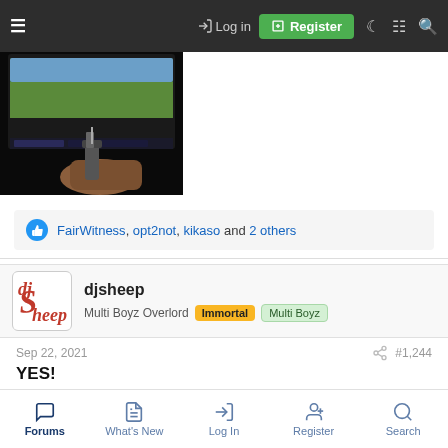Log in | Register
[Figure (photo): Dark screenshot of a hand holding a light gun pointed at a CRT/screen, showing a video game on a tablet/screen device]
FairWitness, opt2not, kikaso and 2 others
djsheep
Multi Boyz Overlord | Immortal | Multi Boyz
Sep 22, 2021  #1,244
YES!
I have used the Zapper, Menacer, Light Phaser, Super Scope and Justifier with the SNAC on the remote
Forums | What's New | Log In | Register | Search